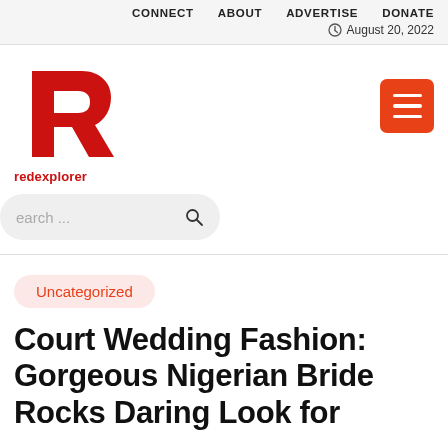CONNECT   ABOUT   ADVERTISE   DONATE
August 20, 2022
[Figure (logo): Redexplorer logo — a stylized red letter R with the word 'redexplorer' below in red]
[Figure (other): Red hamburger menu button with three white horizontal lines]
Search ...
Uncategorized
Court Wedding Fashion: Gorgeous Nigerian Bride Rocks Daring Look for